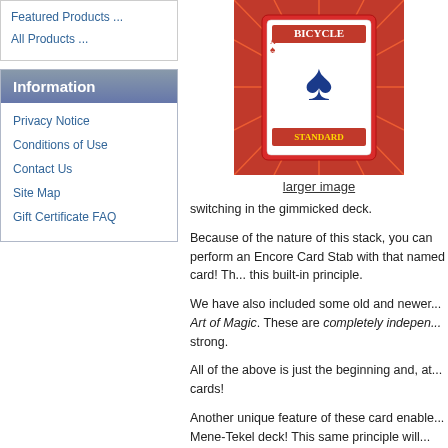Featured Products ...
All Products ...
Information
Privacy Notice
Conditions of Use
Contact Us
Site Map
Gift Certificate FAQ
[Figure (photo): Bicycle Standard playing card deck with red explosive burst background]
larger image
switching in the gimmicked deck.
Because of the nature of this stack, you can perform an Encore Card Stab with that named card! Th... this built-in principle.
We have also included some old and newer... Art of Magic. These are completely indepen... strong.
All of the above is just the beginning and, at... cards!
Another unique feature of these card enable... Mene-Tekel deck! This same principle will...